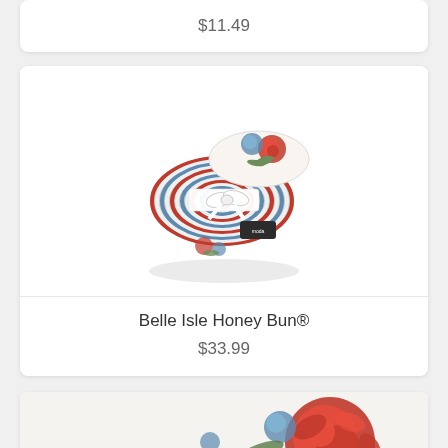$11.49
[Figure (photo): A rolled jelly roll fabric bundle (Honey Bun) with floral print featuring red roses and blue flowers on white background, tied with a white ribbon and a dark label tag.]
Belle Isle Honey Bun®
$33.99
[Figure (photo): Partial view of a flat folded fabric piece with floral print featuring large red roses and blue flowers on a white background.]